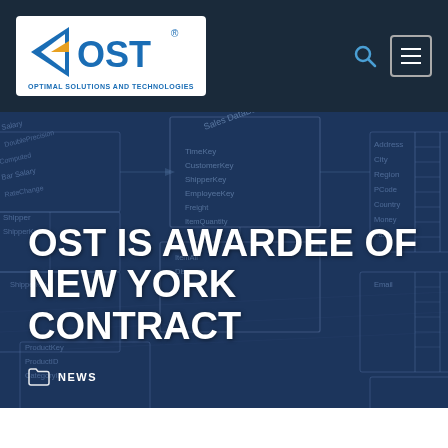[Figure (logo): OST - Optimal Solutions and Technologies logo, blue arrow/chevron with orange triangle, on white background]
[Figure (illustration): Database schema diagram with floating table boxes showing field names like Sales DataBase, TimeKey, CustomerKey, ShipperKey, EmployeeKey, ItemQuantity, ItemAll, Discount, ProductKey, ProductID, CategoryID, Salary, DoublePrecision, Computed, Shipper, ShipperKey, Address, City, Region, PCode, Country, Money, Fax, Email — blue toned technical background]
OST IS AWARDEE OF NEW YORK CONTRACT
NEWS